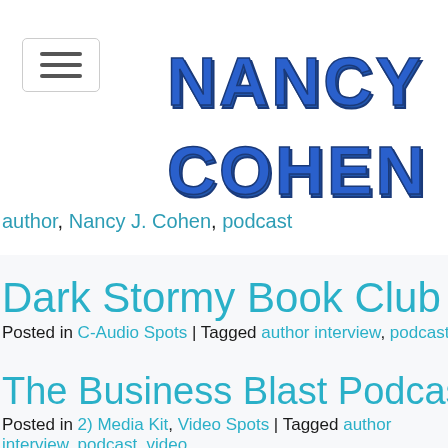[Figure (logo): Nancy J. Cohen author website logo with hamburger menu button]
author, Nancy J. Cohen, podcast
Dark Stormy Book Club
Posted in C-Audio Spots | Tagged author interview, podcast
The Business Blast Podcast
Posted in 2) Media Kit, Video Spots | Tagged author interview, podcast, video